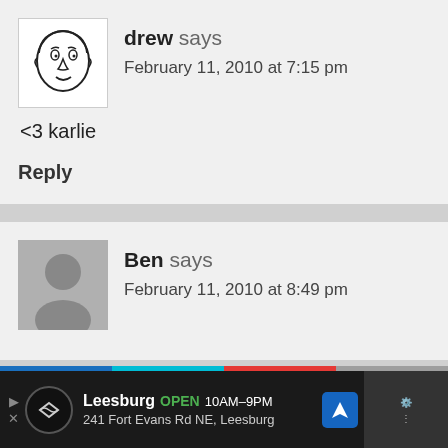[Figure (illustration): Avatar image of 'drew' - hand-drawn caricature face sketch]
drew says
February 11, 2010 at 7:15 pm
<3 karlie
Reply
[Figure (illustration): Generic gray avatar placeholder silhouette for 'Ben']
Ben says
February 11, 2010 at 8:49 pm
Leesburg OPEN 10AM–9PM 241 Fort Evans Rd NE, Leesburg